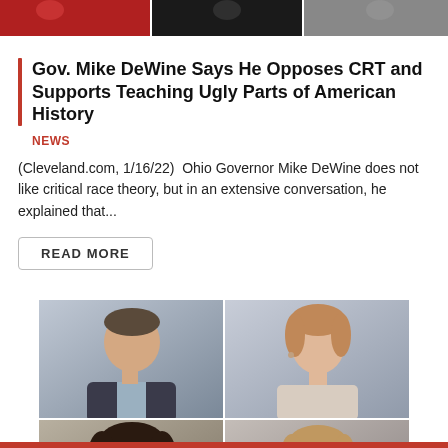[Figure (photo): Top banner strip with editorial photos of people]
Gov. Mike DeWine Says He Opposes CRT and Supports Teaching Ugly Parts of American History
NEWS
(Cleveland.com, 1/16/22)  Ohio Governor Mike DeWine does not like critical race theory, but in an extensive conversation, he explained that...
READ MORE
[Figure (photo): Grid of four professional headshot photos: man in dark suit (top left), woman smiling with earrings (top right), woman with dark curly hair (bottom left), woman with lighter hair (bottom right)]